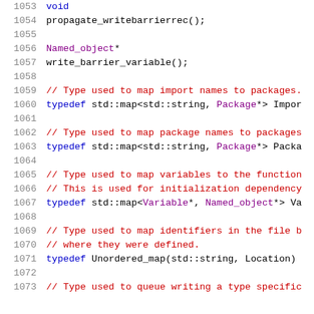1053    void
1054    propagate_writebarrierrec();
1055
1056    Named_object*
1057    write_barrier_variable();
1058
1059    // Type used to map import names to packages.
1060    typedef std::map<std::string, Package*> Impor
1061
1062    // Type used to map package names to packages
1063    typedef std::map<std::string, Package*> Packa
1064
1065    // Type used to map variables to the function
1066    // This is used for initialization dependency
1067    typedef std::map<Variable*, Named_object*> Va
1068
1069    // Type used to map identifiers in the file b
1070    // where they were defined.
1071    typedef Unordered_map(std::string, Location)
1072
1073    // Type used to queue writing a type specific